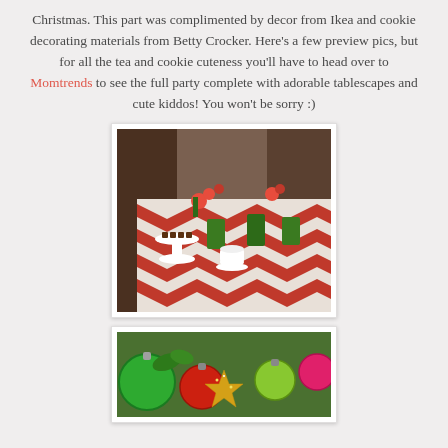Christmas. This part was complimented by decor from Ikea and cookie decorating materials from Betty Crocker. Here's a few preview pics, but for all the tea and cookie cuteness you'll have to head over to Momtrends to see the full party complete with adorable tablescapes and cute kiddos! You won't be sorry :)
[Figure (photo): A Christmas party table set with a red and white chevron tablecloth, green napkins, white teacups and saucers, a tiered cake stand with small chocolates, and colorful floral centerpieces.]
[Figure (photo): A close-up of Christmas ornaments including green, red, and gold glittery ornaments arranged together as a festive decoration.]